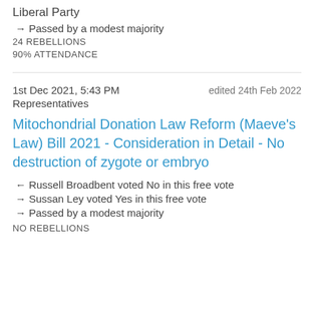Liberal Party
→ Passed by a modest majority
24 REBELLIONS
90% ATTENDANCE
1st Dec 2021, 5:43 PM    edited 24th Feb 2022
Representatives
Mitochondrial Donation Law Reform (Maeve's Law) Bill 2021 - Consideration in Detail - No destruction of zygote or embryo
← Russell Broadbent voted No in this free vote
→ Sussan Ley voted Yes in this free vote
→ Passed by a modest majority
NO REBELLIONS